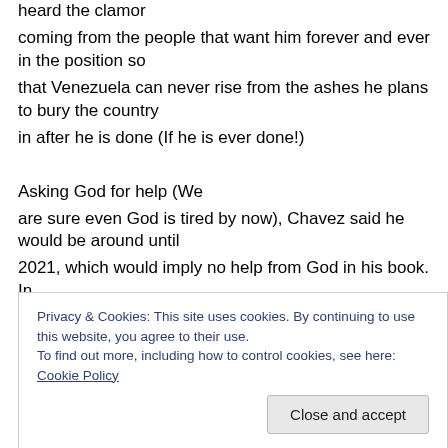heard the clamor coming from the people that want him forever and ever in the position so that Venezuela can never rise from the ashes he plans to bury the country in after he is done (If he is ever done!)
Asking God for help (We are sure even God is tired by now), Chavez said he would be around until 2021, which would imply no help from God in his book. In Chavez' mind, if
Privacy & Cookies: This site uses cookies. By continuing to use this website, you agree to their use. To find out more, including how to control cookies, see here: Cookie Policy
lost in 2006.